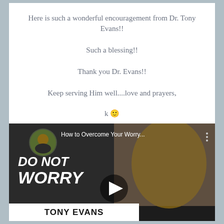Here is such a wonderful encouragement from Dr. Tony Evans!!
Such a blessing!!
Thank you Dr. Evans!!
Keep serving Him well....love and prayers,
k 🙂
[Figure (screenshot): YouTube video thumbnail for 'How to Overcome Your Worry...' by Tony Evans, showing Dr. Tony Evans with text 'DO NOT WORRY' overlaid, a play button in the center, and 'TONY EVANS' at the bottom.]